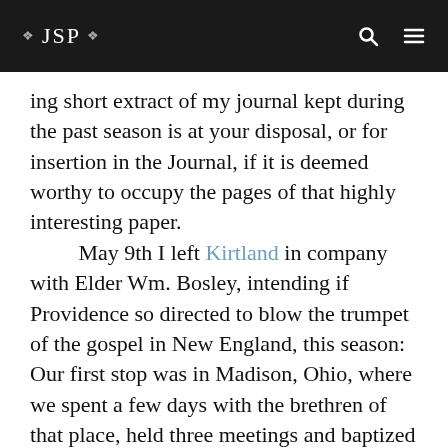JSP
ing short extract of my journal kept during the past season is at your disposal, or for insertion in the Journal, if it is deemed worthy to occupy the pages of that highly interesting paper.
    May 9th I left Kirtland in company with Elder Wm. Bosley, intending if Providence so directed to blow the trumpet of the gospel in New England, this season: Our first stop was in Madison, Ohio, where we spent a few days with the brethren of that place, held three meetings and baptized one. From thence we turned our course S. E. intending to visit those churches in Ohio